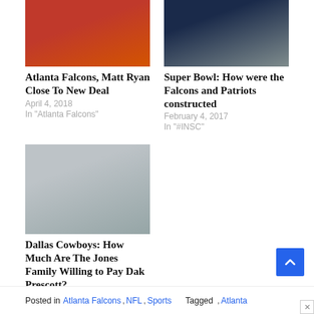[Figure (photo): Atlanta Falcons player in red jersey, Matt Ryan]
Atlanta Falcons, Matt Ryan Close To New Deal
April 4, 2018
In "Atlanta Falcons"
[Figure (photo): Two football players, Falcons and Patriots jerseys]
Super Bowl: How were the Falcons and Patriots constructed
February 4, 2017
In "#INSC"
[Figure (photo): Jerry Jones at press conference with Ford logos in background]
Dallas Cowboys: How Much Are The Jones Family Willing to Pay Dak Prescott?
February 28, 2021
In "#INSC"
Posted in Atlanta Falcons , NFL , Sports   Tagged , Atlanta Falcons ...